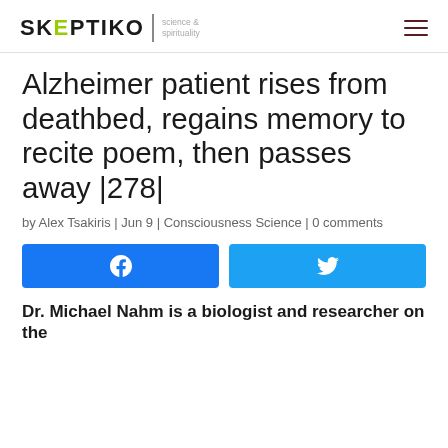SKEPTIKO science & spirituality
Alzheimer patient rises from deathbed, regains memory to recite poem, then passes away |278|
by Alex Tsakiris | Jun 9 | Consciousness Science | 0 comments
[Figure (infographic): Facebook and Twitter share buttons]
Dr. Michael Nahm is a biologist and researcher on the